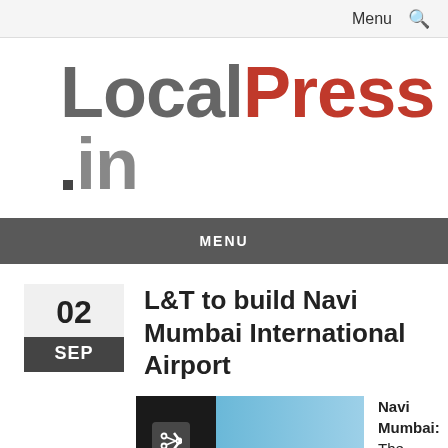Menu 🔍
LocalPress.in
MENU
L&T to build Navi Mumbai International Airport
02 SEP
[Figure (photo): Photo related to Navi Mumbai International Airport article with a share icon overlay]
Navi Mumbai: The